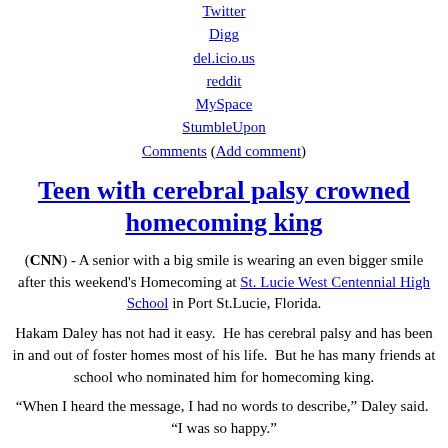Twitter
Digg
del.icio.us
reddit
MySpace
StumbleUpon
Comments (Add comment)
Teen with cerebral palsy crowned homecoming king
(CNN) - A senior with a big smile is wearing an even bigger smile after this weekend's Homecoming at St. Lucie West Centennial High School in Port St.Lucie, Florida.
Hakam Daley has not had it easy.  He has cerebral palsy and has been in and out of foster homes most of his life.  But he has many friends at school who nominated him for homecoming king.
“When I heard the message, I had no words to describe,” Daley said.  “I was so happy.”
Kayla Donohue, a cheerleader and friend of Daley’s, secretly got the other seniors to nominate him for the court.  Donohue said it